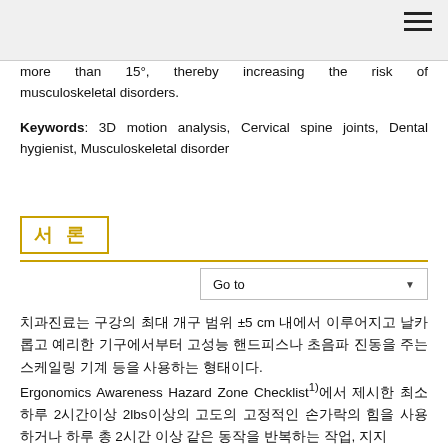more than 15°, thereby increasing the risk of musculoskeletal disorders.
Keywords: 3D motion analysis, Cervical spine joints, Dental hygienist, Musculoskeletal disorder
서 론
Go to
치과진료는 구강의 최대 개구 범위 ±5 cm 내에서 이루어지고 날카롭고 예리한 기구에서부터 고성능 핸드피스나 초음파 진동을 주는 스케일링 기계 등을 사용하는 형태이다.
Ergonomics Awareness Hazard Zone Checklist¹⁾에서 제시한 최소 하루 2시간이상 2lbs이상의 고도의 고정적인 손가락의 힘을 사용하거나 하루 총 2시간 이상 같은 동작을 반복하는 작업, 지지